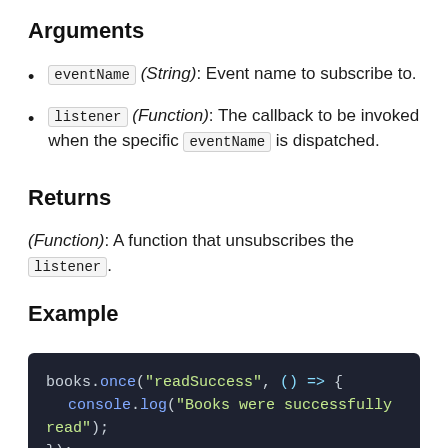Arguments
eventName (String): Event name to subscribe to.
listener (Function): The callback to be invoked when the specific eventName is dispatched.
Returns
(Function): A function that unsubscribes the listener.
Example
[Figure (screenshot): Code block showing: books.once("readSuccess", () => {
  console.log("Books were successfully read");
});]